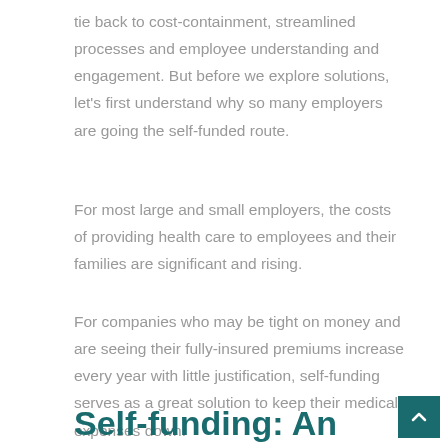tie back to cost-containment, streamlined processes and employee understanding and engagement. But before we explore solutions, let's first understand why so many employers are going the self-funded route.
For most large and small employers, the costs of providing health care to employees and their families are significant and rising.
For companies who may be tight on money and are seeing their fully-insured premiums increase every year with little justification, self-funding serves as a great solution to keep their medical expenses down.
Self-funding: An